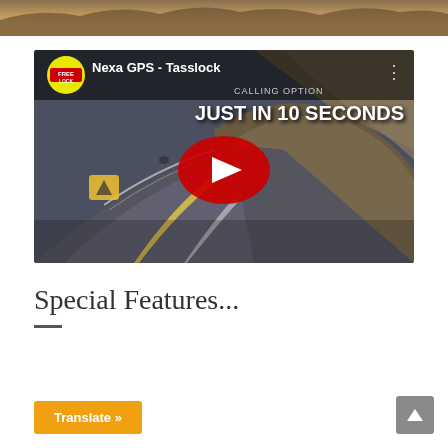[Figure (screenshot): Website header with desert/terrain landscape background image at the top of the page]
[Figure (screenshot): YouTube video thumbnail showing a road winding through hills with text 'Nexa GPS - Tasslock' and 'JUST IN 10 SECONDS' with a red YouTube play button in the center. A yellow circular logo with 'FREELOCK' branding is visible in the top-left of the video.]
Special Features...
—
Translate »
▲